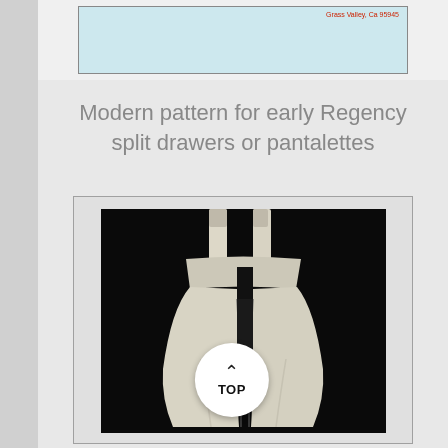[Figure (photo): Partial view of a document or envelope with address text reading 'Grass Valley, Ca 95945' in red text on a light blue/teal background, bordered in dark frame]
Modern pattern for early Regency split drawers or pantalettes
[Figure (photo): Photograph of early Regency split drawers or pantalettes garment, white/cream colored fabric, displayed against black background. A circular white button overlay reads 'TOP' with an upward caret arrow.]